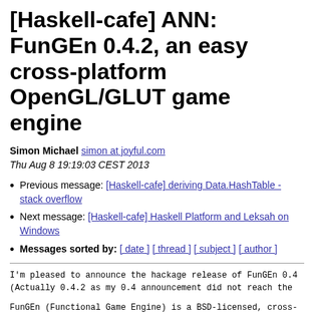[Haskell-cafe] ANN: FunGEn 0.4.2, an easy cross-platform OpenGL/GLUT game engine
Simon Michael simon at joyful.com
Thu Aug 8 19:19:03 CEST 2013
Previous message: [Haskell-cafe] deriving Data.HashTable - stack overflow
Next message: [Haskell-cafe] Haskell Platform and Leksah on Windows
Messages sorted by: [ date ] [ thread ] [ subject ] [ author ]
I'm pleased to announce the hackage release of FunGEn 0.4
(Actually 0.4.2 as my 0.4 announcement did not reach the
FunGEn (Functional Game Engine) is a BSD-licensed, cross-
OpenGL/GLUT-based, imperative game engine/framework.  Wi
dependencies and two example games, it's one of the easie
get started with game development in Haskell.
FunGEn was probably the first Haskell game framework, cre